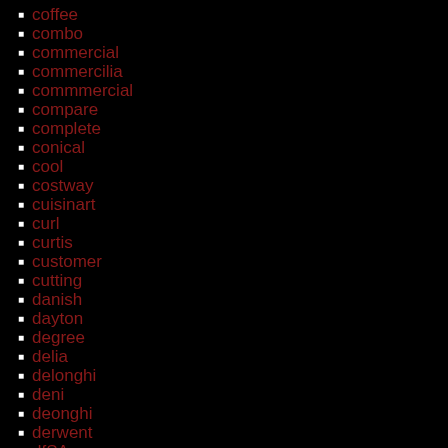coffee
combo
commercial
commercilia
commmercial
compare
complete
conical
cool
costway
cuisinart
curl
curtis
customer
cutting
danish
dayton
degree
delia
delonghi
deni
deonghi
derwent
dfSA